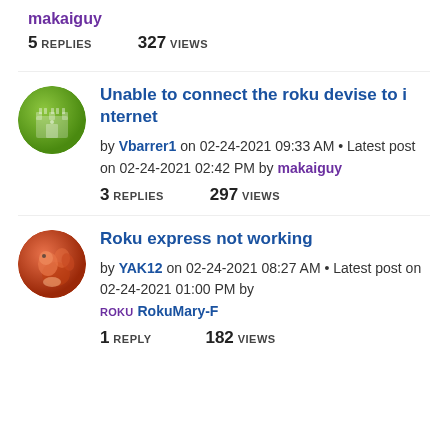makaiguy
5 REPLIES   327 VIEWS
Unable to connect the roku devise to internet
by Vbarrer1 on 02-24-2021 09:33 AM • Latest post on 02-24-2021 02:42 PM by makaiguy
3 REPLIES   297 VIEWS
Roku express not working
by YAK12 on 02-24-2021 08:27 AM • Latest post on 02-24-2021 01:00 PM by Roku RokuMary-F
1 REPLY   182 VIEWS